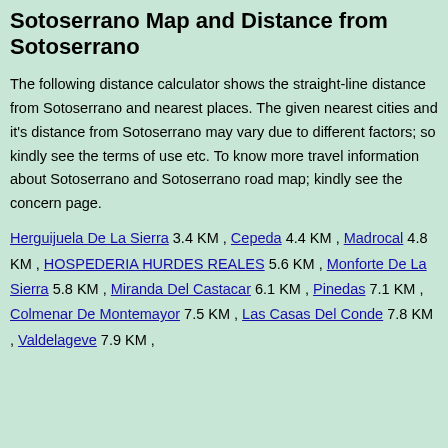Sotoserrano Map and Distance from Sotoserrano
The following distance calculator shows the straight-line distance from Sotoserrano and nearest places. The given nearest cities and it's distance from Sotoserrano may vary due to different factors; so kindly see the terms of use etc. To know more travel information about Sotoserrano and Sotoserrano road map; kindly see the concern page.
Herguijuela De La Sierra 3.4 KM , Cepeda 4.4 KM , Madrocal 4.8 KM , HOSPEDERIA HURDES REALES 5.6 KM , Monforte De La Sierra 5.8 KM , Miranda Del Castacar 6.1 KM , Pinedas 7.1 KM , Colmenar De Montemayor 7.5 KM , Las Casas Del Conde 7.8 KM , Valdelageve 7.9 KM ,